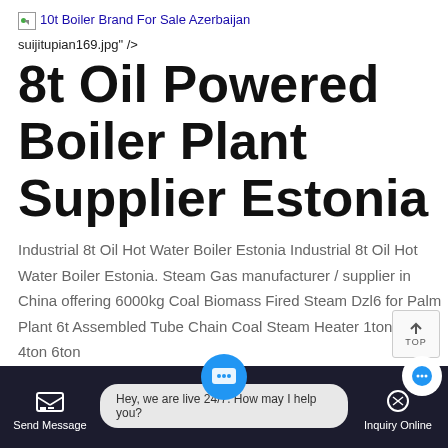[Figure (other): Broken image link: 10t Boiler Brand For Sale Azerbaijan]
suijitupian169.jpg" />
8t Oil Powered Boiler Plant Supplier Estonia
Industrial 8t Oil Hot Water Boiler Estonia Industrial 8t Oil Hot Water Boiler Estonia. Steam Gas manufacturer / supplier in China offering 6000kg Coal Biomass Fired Steam Dzl6 for Palm Plant 6t Assembled Tube Chain Coal Steam Heater 1ton 2ton 4ton 6ton
suijitupian168.jpg" />
Industrial 4t Diesel
Hey, we are live 24/7. How may I help you?